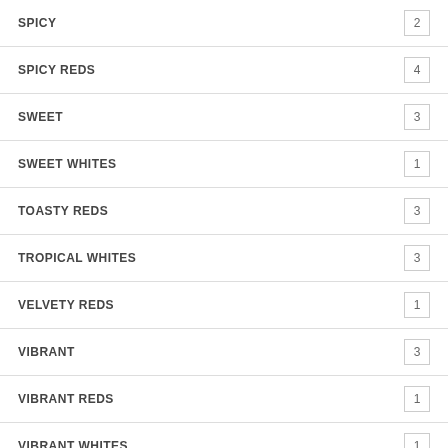SPICY 2
SPICY REDS 4
SWEET 3
SWEET WHITES 1
TOASTY REDS 3
TROPICAL WHITES 3
VELVETY REDS 1
VIBRANT 3
VIBRANT REDS 1
VIBRANT WHITES 1
ZESTY 1
Grape Variety
CABERNET SAUVIGNON